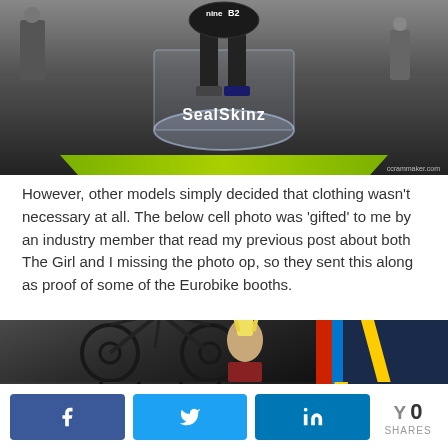[Figure (photo): Trade show booth photo showing SealSkinz display with green floor mat, person standing in circular glass display, with ccrammaker.com watermark]
However, other models simply decided that clothing wasn't necessary at all. The below cell photo was ‘gifted’ to me by an industry member that read my previous post about both The Girl and I missing the photo op, so they sent this along as proof of some of the Eurobike booths.
[Figure (photo): Eurobike trade show booth photo showing mountain bikes on display with 'HARD TRAIL' and 'XC TWENTY NINE' signage, and a woman with a punk-style blonde mohawk hairstyle standing in front, colorful vertical bars on right side]
0 SHARES